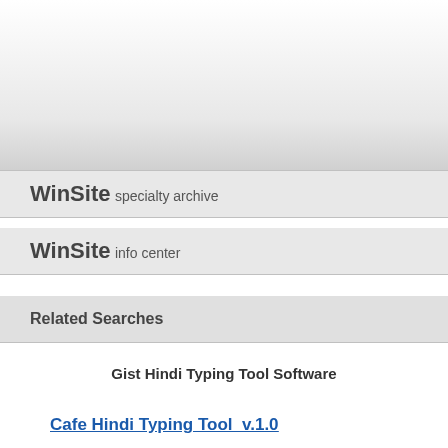WinSite specialty archive
WinSite info center
Related Searches
Gist Hindi Typing Tool Software
Cafe Hindi Typing Tool  v.1.0